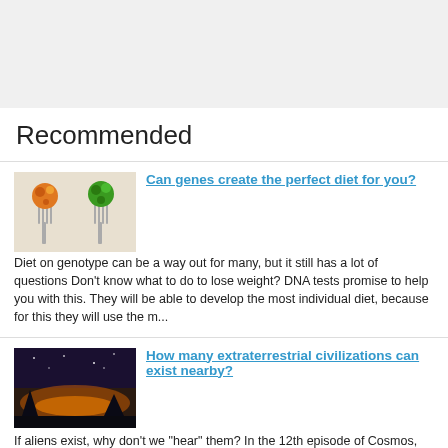Recommended
[Figure (photo): Two forks with colorful food (vegetables, orange and green) on white background]
Can genes create the perfect diet for you?
Diet on genotype can be a way out for many, but it still has a lot of questions Don't know what to do to lose weight? DNA tests promise to help you with this. They will be able to develop the most individual diet, because for this they will use the m...
[Figure (photo): Silhouette of trees against a sunset/dusk sky, dark landscape]
How many extraterrestrial civilizations can exist nearby?
If aliens exist, why don't we "hear" them? In the 12th episode of Cosmos, which aired on December 14, 1980, co-author and host Carl Sagan introduced viewers to the same equation of astronomer Frank Drake. Using it, he calculated the potential number ...
[Figure (photo): Dark thumbnail image, partially visible at bottom]